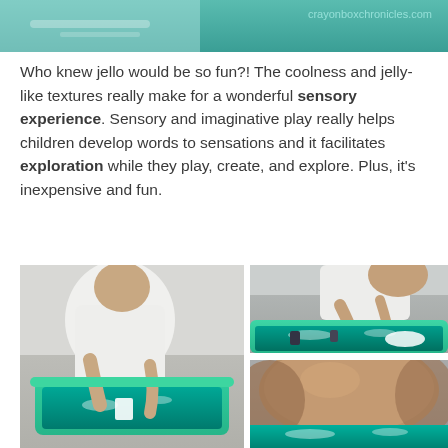[Figure (photo): Top banner photo of child playing with jello sensory bin, with crayonboxchronicles.com watermark in teal]
Who knew jello would be so fun?! The coolness and jelly-like textures really make for a wonderful sensory experience. Sensory and imaginative play really helps children develop words to sensations and it facilitates exploration while they play, create, and explore. Plus, it's inexpensive and fun.
[Figure (photo): Child in white shirt standing over green sensory bin filled with teal jello, holding small white cup]
[Figure (photo): Close-up of child's hands playing in teal jello sensory bin with toy animals and white cup]
[Figure (photo): Child's head from above, looking down into jello sensory bin]